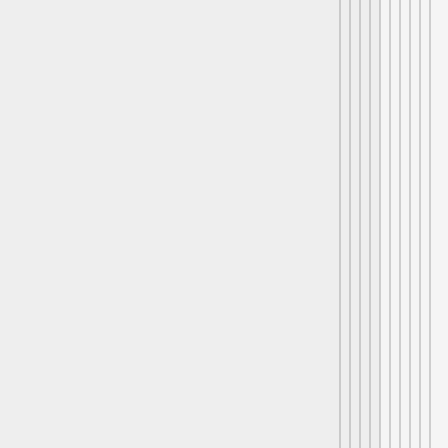the polysilicon plants that are in construction and project accurately how that will change supply in 2 years. You can look at installation methods and accurately estimate how changes will